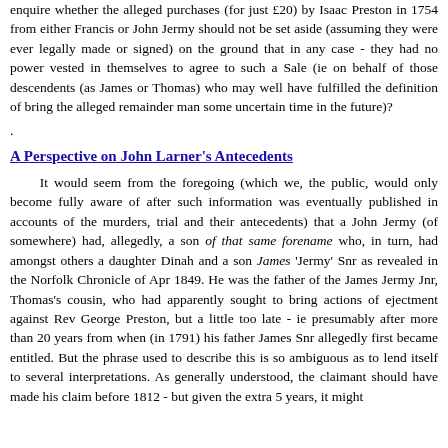enquire whether the alleged purchases (for just £20) by Isaac Preston in 1754 from either Francis or John Jermy should not be set aside (assuming they were ever legally made or signed) on the ground that in any case - they had no power vested in themselves to agree to such a Sale (ie on behalf of those descendents (as James or Thomas) who may well have fulfilled the definition of bring the alleged remainder man some uncertain time in the future)?
.
A Perspective on John Larner's Antecedents
It would seem from the foregoing (which we, the public, would only become fully aware of after such information was eventually published in accounts of the murders, trial and their antecedents) that a John Jermy (of somewhere) had, allegedly, a son of that same forename who, in turn, had amongst others a daughter Dinah and a son James 'Jermy' Snr as revealed in the Norfolk Chronicle of Apr 1849. He was the father of the James Jermy Jnr, Thomas's cousin, who had apparently sought to bring actions of ejectment against Rev George Preston, but a little too late - ie presumably after more than 20 years from when (in 1791) his father James Snr allegedly first became entitled. But the phrase used to describe this is so ambiguous as to lend itself to several interpretations. As generally understood, the claimant should have made his claim before 1812 - but given the extra 5 years, it might